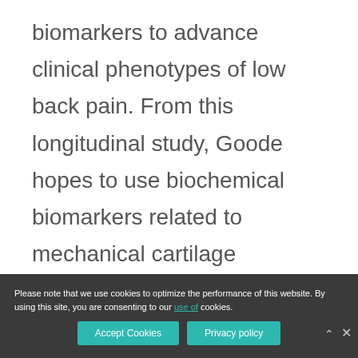biomarkers to advance clinical phenotypes of low back pain. From this longitudinal study, Goode hopes to use biochemical biomarkers related to mechanical cartilage degradation, inflammation, and pain to better understand individuals who may develop low back pain from intervertebral disc degeneration or facet joint osteoarthritis.
Please note that we use cookies to optimize the performance of this website. By using this site, you are consenting to our use of cookies.